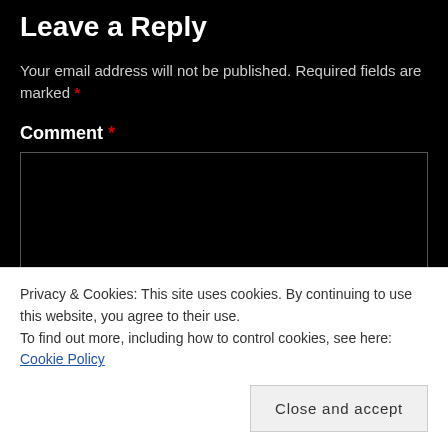Leave a Reply
Your email address will not be published. Required fields are marked *
Comment *
[Comment text area box]
Privacy & Cookies: This site uses cookies. By continuing to use this website, you agree to their use.
To find out more, including how to control cookies, see here: Cookie Policy
Close and accept